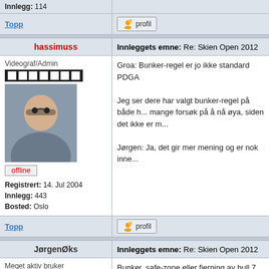| Innlegg: 114 |  |
| Topp | profil |
| hassimuss | Innleggets emne: Re: Skien Open 2012 |
| Videograf/Admin [film strip] [avatar] offline
Registrert: 14. Jul 2004
Innlegg: 443
Bosted: Oslo | Groa: Bunker-regel er jo ikke standard PDGA...
Jeg ser dere har valgt bunker-regel på både h... mange forsøk på å nå øya, siden det ikke er...
Jørgen: Ja, det gir mer mening og er nok inne... |
| Topp | profil |
| JørgenØks | Innleggets emne: Re: Skien Open 2012 |
| Meget aktiv bruker [stars] [avatar] | Bunker, safe-zone eller fjerning av hull 7 har v... |